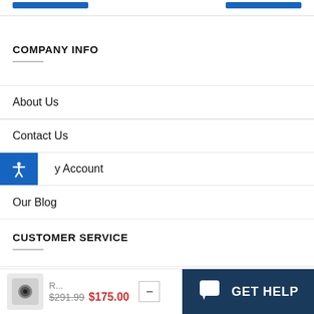COMPANY INFO
About Us
Contact Us
My Account
Our Blog
CUSTOMER SERVICE
Shipping & Handling
R... & $291.99 $175.00
[Figure (other): GET HELP chat button with blue background]